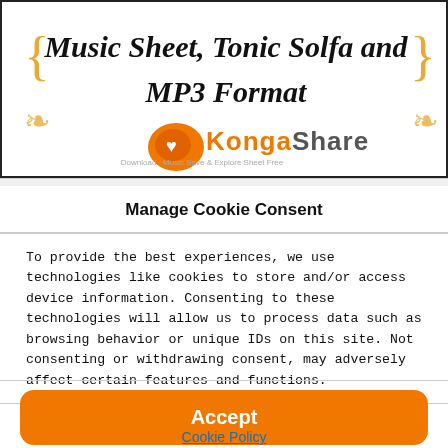[Figure (logo): KongaShare website banner with decorative curly braces, text 'Music Sheet, Tonic Solfa and MP3 Format' in italic serif font, and the KongaShare orange logo with circular emblem and tagline]
Manage Cookie Consent
To provide the best experiences, we use technologies like cookies to store and/or access device information. Consenting to these technologies will allow us to process data such as browsing behavior or unique IDs on this site. Not consenting or withdrawing consent, may adversely affect certain features and functions.
Accept
Cookie Policy